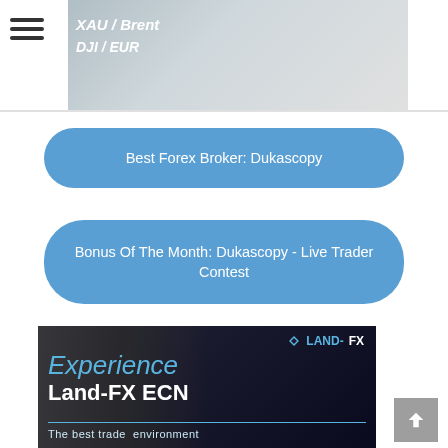[Figure (screenshot): Partial website header banner showing currency pair text (XAU/Brent, DJI/EUR) overlaid on a blurred background image, with a hamburger menu icon at the top left.]
Best Forex Broker: Dukascopy
Bonus Of The Month: Dukascopy - Live Trader Contest
[Figure (illustration): Land-FX advertisement banner showing a dark mosaic background with athletes, featuring the LAND-FX logo, the text 'Experience' in cyan italic, 'Land-FX ECN' in bold white, and 'The best trade environment' in light blue below a horizontal rule.]